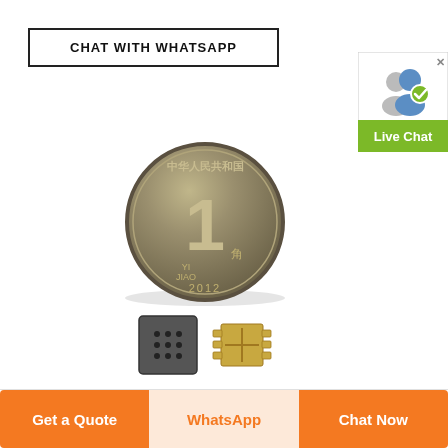CHAT WITH WHATSAPP
[Figure (screenshot): Live Chat widget with user icon and green label]
[Figure (photo): Chinese 1 Jiao coin dated 2012 shown next to two small electronic components (microchips). Two thumbnail images below show the microchips close up.]
Get a Quote
WhatsApp
Chat Now